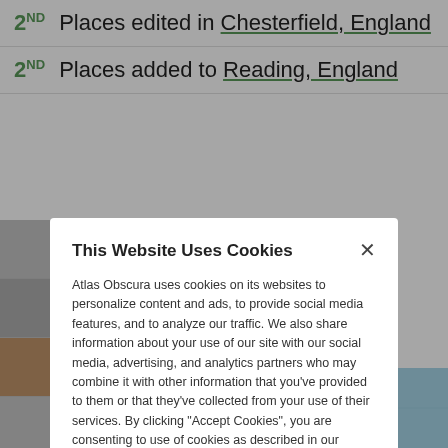2ND Places edited in Chesterfield, England
2ND Places added to Reading, England
This Website Uses Cookies
Atlas Obscura uses cookies on its websites to personalize content and ads, to provide social media features, and to analyze our traffic. We also share information about your use of our site with our social media, advertising, and analytics partners who may combine it with other information that you've provided to them or that they've collected from your use of their services. By clicking "Accept Cookies", you are consenting to use of cookies as described in our Cookie Policy. View Cookie Policy
Manage Preferences
Allow Cookies
[Figure (map): Partial map showing Finland region]